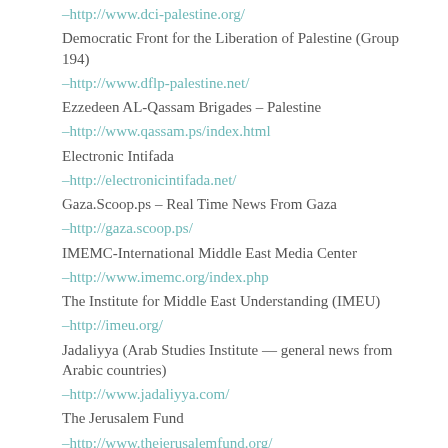–http://www.dci-palestine.org/
Democratic Front for the Liberation of Palestine (Group 194)
–http://www.dflp-palestine.net/
Ezzedeen AL-Qassam Brigades – Palestine
–http://www.qassam.ps/index.html
Electronic Intifada
–http://electronicintifada.net/
Gaza.Scoop.ps – Real Time News From Gaza
–http://gaza.scoop.ps/
IMEMC-International Middle East Media Center
–http://www.imemc.org/index.php
The Institute for Middle East Understanding (IMEU)
–http://imeu.org/
Jadaliyya (Arab Studies Institute — general news from Arabic countries)
–http://www.jadaliyya.com/
The Jerusalem Fund
–http://www.thejerusalemfund.org/